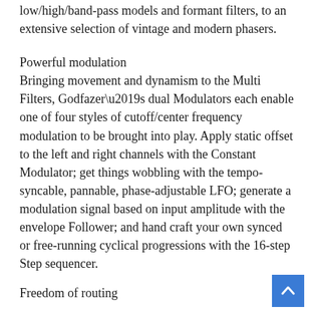low/high/band-pass models and formant filters, to an extensive selection of vintage and modern phasers.
Powerful modulation
Bringing movement and dynamism to the Multi Filters, Godfazer’s dual Modulators each enable one of four styles of cutoff/center frequency modulation to be brought into play. Apply static offset to the left and right channels with the Constant Modulator; get things wobbling with the tempo-syncable, pannable, phase-adjustable LFO; generate a modulation signal based on input amplitude with the envelope Follower; and hand craft your own synced or free-running cyclical progressions with the 16-step Step sequencer.
Freedom of routing